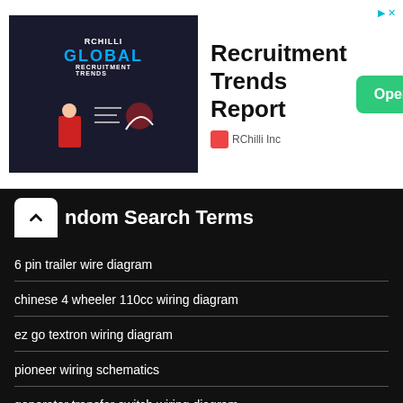[Figure (screenshot): Advertisement banner for RChilli Inc - Recruitment Trends Report with Open button]
Random Search Terms
6 pin trailer wire diagram
chinese 4 wheeler 110cc wiring diagram
ez go textron wiring diagram
pioneer wiring schematics
generator transfer switch wiring diagram
les paul wiring diagram
electric fence wiring diagram
john deere wiring diagram download
seven wire trailer diagram